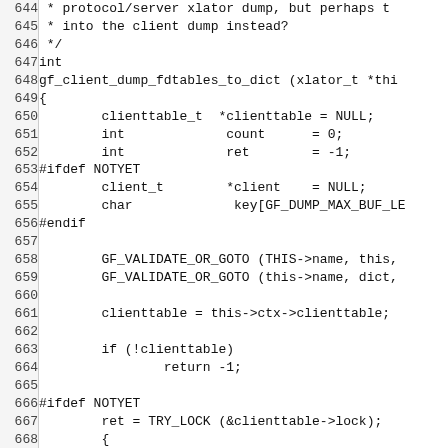Source code listing, lines 644-674, C language
644:  * protocol/server xlator dump, but perhaps the
645:   * into the client dump instead?
646:   */
647: int
648: gf_client_dump_fdtables_to_dict (xlator_t *thi
649: {
650:         clienttable_t  *clienttable = NULL;
651:         int             count      = 0;
652:         int             ret        = -1;
653: #ifdef NOTYET
654:         client_t        *client    = NULL;
655:         char             key[GF_DUMP_MAX_BUF_LE
656: #endif
657:
658:         GF_VALIDATE_OR_GOTO (THIS->name, this,
659:         GF_VALIDATE_OR_GOTO (this->name, dict,
660:
661:         clienttable = this->ctx->clienttable;
662:
663:         if (!clienttable)
664:                 return -1;
665:
666: #ifdef NOTYET
667:         ret = TRY_LOCK (&clienttable->lock);
668:         {
669:                 if (ret) {
670:                         gf_log ("client_t", GF
671:                                  "Unable to acc
672:                         return -1;
673:         }
674:                 for (; count < clienttable->n